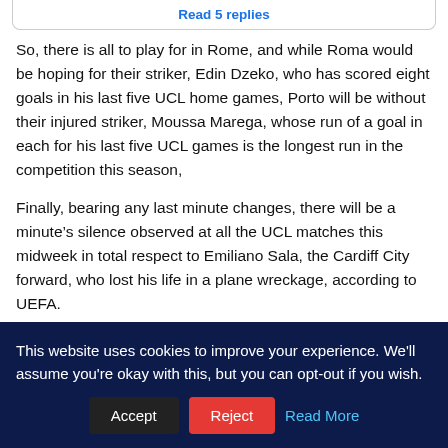Read 5 replies
So, there is all to play for in Rome, and while Roma would be hoping for their striker, Edin Dzeko, who has scored eight goals in his last five UCL home games, Porto will be without their injured striker, Moussa Marega, whose run of a goal in each for his last five UCL games is the longest run in the competition this season,
Finally, bearing any last minute changes, there will be a minute's silence observed at all the UCL matches this midweek in total respect to Emiliano Sala, the Cardiff City forward, who lost his life in a plane wreckage, according to UEFA.
[Figure (infographic): Social sharing buttons: Facebook (blue), Twitter (light blue), Pinterest (red), LinkedIn (dark blue), Email (green)]
This website uses cookies to improve your experience. We'll assume you're okay with this, but you can opt-out if you wish. Accept Reject Read More